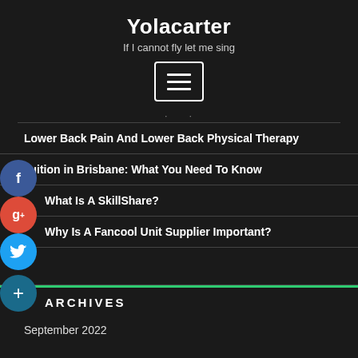Yolacarter
If I cannot fly let me sing
[Figure (other): Hamburger menu button icon with three horizontal lines inside a rounded rectangle border]
...
Lower Back Pain And Lower Back Physical Therapy
Tuition in Brisbane: What You Need To Know
What Is A SkillShare?
Why Is A Fancool Unit Supplier Important?
ARCHIVES
September 2022